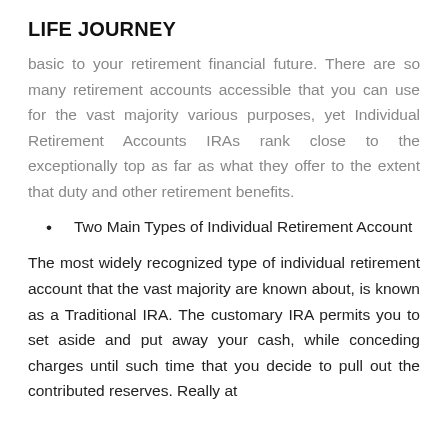LIFE JOURNEY
basic to your retirement financial future. There are so many retirement accounts accessible that you can use for the vast majority various purposes, yet Individual Retirement Accounts IRAs rank close to the exceptionally top as far as what they offer to the extent that duty and other retirement benefits.
Two Main Types of Individual Retirement Account
The most widely recognized type of individual retirement account that the vast majority are known about, is known as a Traditional IRA. The customary IRA permits you to set aside and put away your cash, while conceding charges until such time that you decide to pull out the contributed reserves. Really at